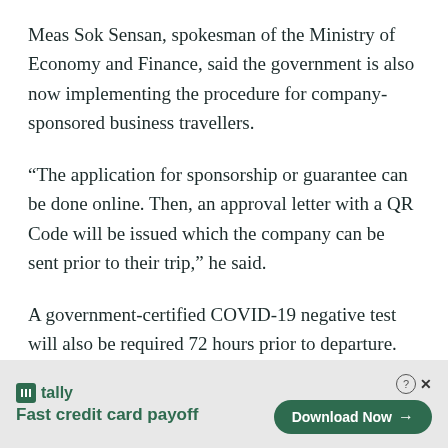Meas Sok Sensan, spokesman of the Ministry of Economy and Finance, said the government is also now implementing the procedure for company-sponsored business travellers.
“The application for sponsorship or guarantee can be done online. Then, an approval letter with a QR Code will be issued which the company can be sent prior to their trip,” he said.
A government-certified COVID-19 negative test will also be required 72 hours prior to departure.
To receive this business certificate, the applicant must be sponsored by a chief executive officer or be a major
[Figure (other): Advertisement banner for Tally app: Fast credit card payoff. Shows Tally logo, tagline 'Fast credit card payoff', and a 'Download Now' button with arrow. Help and close icons in top right.]